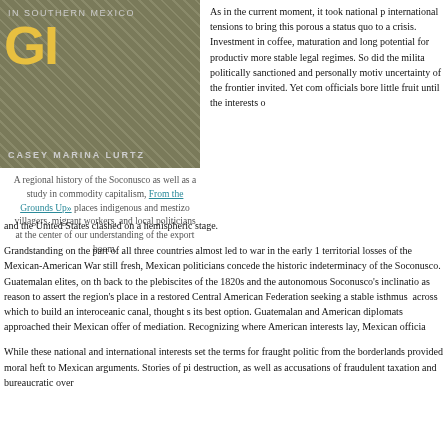[Figure (photo): Book cover of 'From the Grounds Up in Southern Mexico' by Casey Marina Lurtz, with textured khaki/olive background and large yellow letters]
A regional history of the Soconusco as well as a study in commodity capitalism, From the Grounds Up» places indigenous and mestizo villagers, migrant workers, and local politicians at the center of our understanding of the export boom.
As in the current moment, it took national and international tensions to bring this porous and stable status quo to a crisis. Investment in coffee, with its maturation and long potential for productivity, required more stable legal regimes. So did the militarily, politically sanctioned and personally motivated uncertainty of the frontier invited. Yet complaints to officials bore little fruit until the interests of and the United States clashed on a hemispheric stage.
Grandstanding on the part of all three countries almost led to war in the early territorial losses of the Mexican-American War still fresh, Mexican politicians concede the historic indeterminacy of the Soconusco. Guatemalan elites, on the back to the plebiscites of the 1820s and the autonomous Soconusco's inclination as reason to assert the region's place in a restored Central American Federation seeking a stable isthmus across which to build an interoceanic canal, thought its best option. Guatemalan and American diplomats approached their Mexican offer of mediation. Recognizing where American interests lay, Mexican officia
While these national and international interests set the terms for fraught from the borderlands provided moral heft to Mexican arguments. Stories of destruction, as well as accusations of fraudulent taxation and bureaucratic over